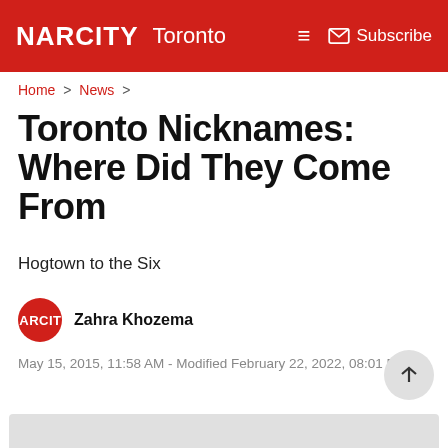NARCITY Toronto — Subscribe
Home > News >
Toronto Nicknames: Where Did They Come From
Hogtown to the Six
Zahra Khozema
May 15, 2015, 11:58 AM - Modified February 22, 2022, 08:01 PM